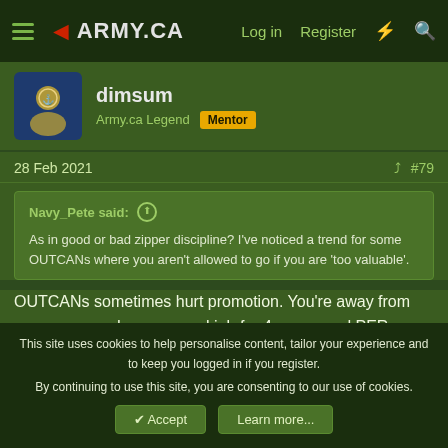Army.ca — Log in  Register
dimsum
Army.ca Legend  Mentor
28 Feb 2021  #79
Navy_Pete said:
As in good or bad zipper discipline? I've noticed a trend for some OUTCANs where you aren't allowed to go if you are 'too valuable'.
OUTCANs sometimes hurt promotion. You're away from your peers and your normal job for 4 years, and PERs are written by people who probably have never met you. It may be harder to get Immediates that way.
This site uses cookies to help personalise content, tailor your experience and to keep you logged in if you register.
By continuing to use this site, you are consenting to our use of cookies.
Accept  Learn more...